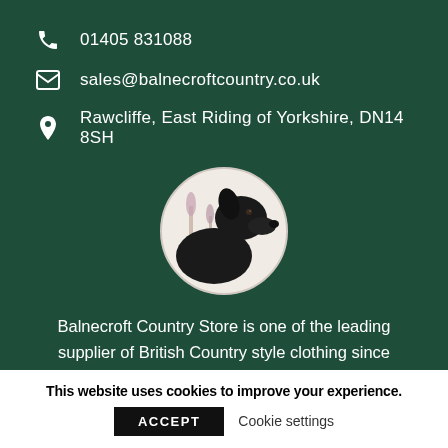01405 831088
sales@balnecroftcountry.co.uk
Rawcliffe, East Riding of Yorkshire, DN14 8SH
[Figure (photo): Circular photo of a black Labrador dog in profile against a light background with purple flowers]
Balnecroft Country Store is one of the leading supplier of British Country style clothing since 2009.
This website uses cookies to improve your experience.
ACCEPT   Cookie settings